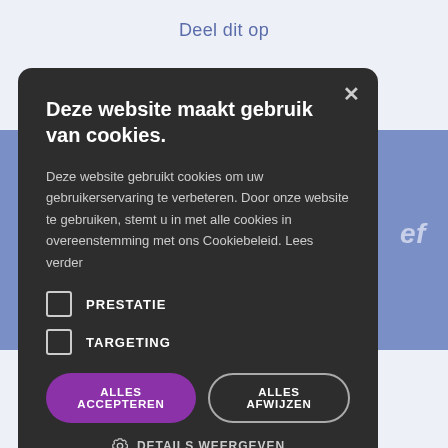Deel dit op
Deze website maakt gebruik van cookies.
Deze website gebruikt cookies om uw gebruikerservaring te verbeteren. Door onze website te gebruiken, stemt u in met alle cookies in overeenstemming met ons Cookiebeleid. Lees verder
PRESTATIE
TARGETING
ALLES ACCEPTEREN
ALLES AFWIJZEN
DETAILS WEERGEVEN